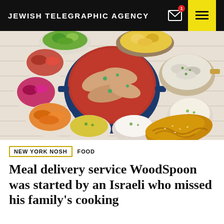JEWISH TELEGRAPHIC AGENCY
[Figure (photo): Overhead spread of Jewish/Israeli dishes including a large blue pot with braised fish in tomato sauce, bowls of pickled beets, cooked carrots, rice, hummus, and a challah bread on a white wooden table]
NEW YORK NOSH   FOOD
Meal delivery service WoodSpoon was started by an Israeli who missed his family's cooking